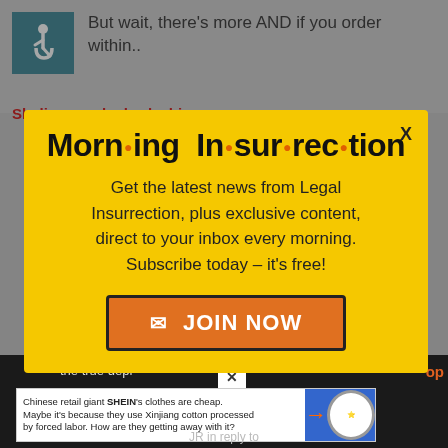[Figure (screenshot): Accessibility icon (wheelchair symbol) on teal background in top left corner]
But wait, there's more AND if you order within..
Shelia says, he broke his own nose
[Figure (infographic): Morning Insurrection newsletter popup modal with yellow background. Title reads 'Morn·ing In·sur·rec·tion' with orange dots. Body text: 'Get the latest news from Legal Insurrection, plus exclusive content, direct to your inbox every morning. Subscribe today – it's free!' with JOIN NOW button. X close button in top right.]
the true depravity of this crime...er...
Chinese retail giant SHEIN's clothes are cheap. Maybe it's because they use Xinjiang cotton processed by forced labor. How are they getting away with it?
JR in reply to